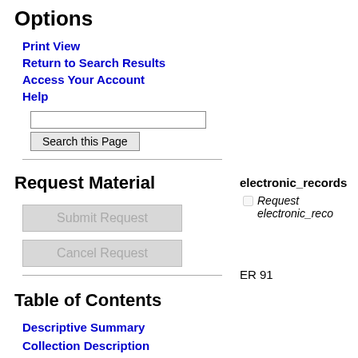Options
Print View
Return to Search Results
Access Your Account
Help
Request Material
Submit Request
Cancel Request
electronic_records
Request electronic_reco...
ER 91
Table of Contents
Descriptive Summary
Collection Description
Administrative Information